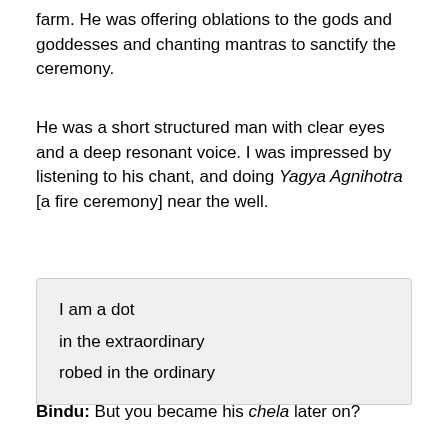farm. He was offering oblations to the gods and goddesses and chanting mantras to sanctify the ceremony.
He was a short structured man with clear eyes and a deep resonant voice. I was impressed by listening to his chant, and doing Yagya Agnihotra [a fire ceremony] near the well.
I am a dot
in the extraordinary
robed in the ordinary
Bindu: But you became his chela later on?